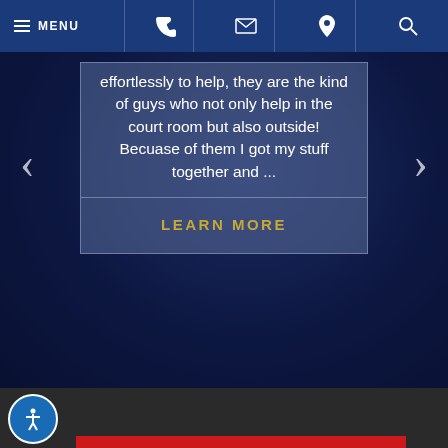MENU navigation bar with phone, email, location, and search icons
effortlessly to help, they are the kind of guys who not only help in the court room but also outside! Becuase of them I got my stuff together and ...
LEARN MORE
[Figure (screenshot): Law firm website screenshot showing a dark blue hero section with a testimonial card overlay, carousel navigation arrows, a dark footer bar with accessibility button, and a red accent bar at the bottom]